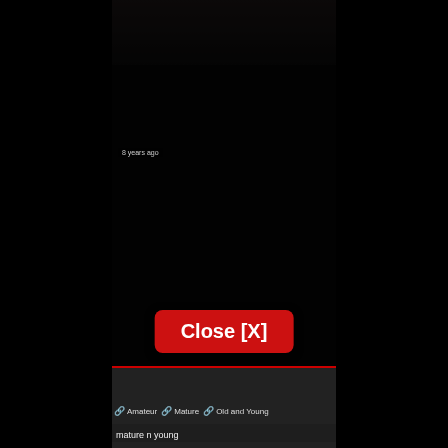[Figure (screenshot): Dark video player screenshot with a 'Close [X]' button overlay in red. The center panel shows a very dark video with minimal visible content. Bottom area shows a thumbnail strip with '8 years ago' text, tag links for Amateur, Mature, Old and Young, and title 'mature n young'.]
8 years ago
Close [X]
🔗 Amateur  🔗 Mature  🔗 Old and Young
mature n young